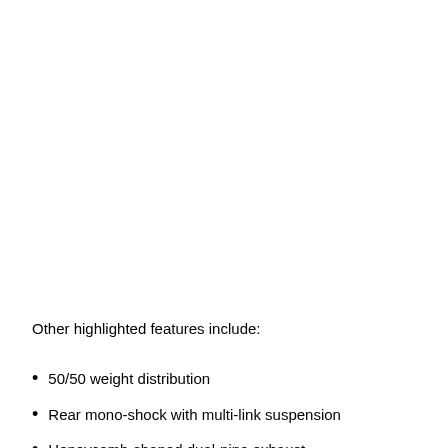Other highlighted features include:
50/50 weight distribution
Rear mono-shock with multi-link suspension
Honeycomb-shaped dual-pipe exhaust